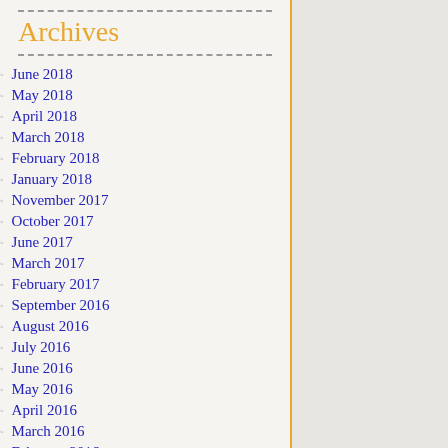Archives
June 2018
May 2018
April 2018
March 2018
February 2018
January 2018
November 2017
October 2017
June 2017
March 2017
February 2017
September 2016
August 2016
July 2016
June 2016
May 2016
April 2016
March 2016
February 2016
January 2016
December 2015